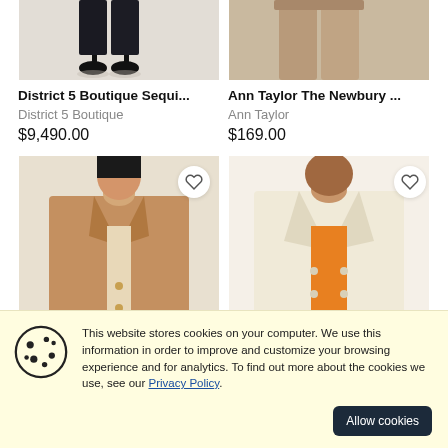[Figure (photo): Partial image of a person wearing black sequin pants and black heels on a light background]
[Figure (photo): Partial image of a person wearing beige/camel wide-leg trousers]
District 5 Boutique Sequi...
District 5 Boutique
$9,490.00
Ann Taylor The Newbury ...
Ann Taylor
$169.00
[Figure (photo): Woman wearing a camel single-breasted blazer with gold buttons against a beige background]
[Figure (photo): Woman wearing a cream double-breasted blazer with an orange top underneath]
This website stores cookies on your computer. We use this information in order to improve and customize your browsing experience and for analytics. To find out more about the cookies we use, see our Privacy Policy.
Allow cookies